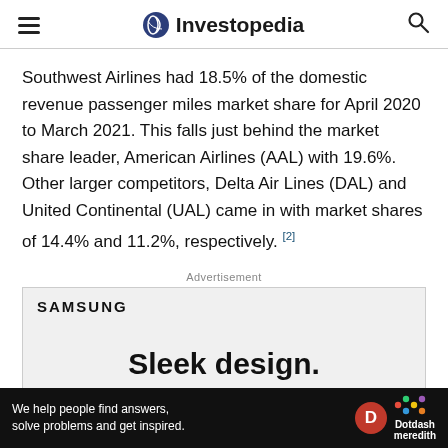Investopedia
Southwest Airlines had 18.5% of the domestic revenue passenger miles market share for April 2020 to March 2021. This falls just behind the market share leader, American Airlines (AAL) with 19.6%. Other larger competitors, Delta Air Lines (DAL) and United Continental (UAL) came in with market shares of 14.4% and 11.2%, respectively. [2]
Advertisement
[Figure (other): Samsung advertisement showing 'Sleek design.' text on a light gray background with Samsung logo]
[Figure (other): Dotdash Meredith bottom banner: 'We help people find answers, solve problems and get inspired.' with D logo and Dotdash meredith branding]